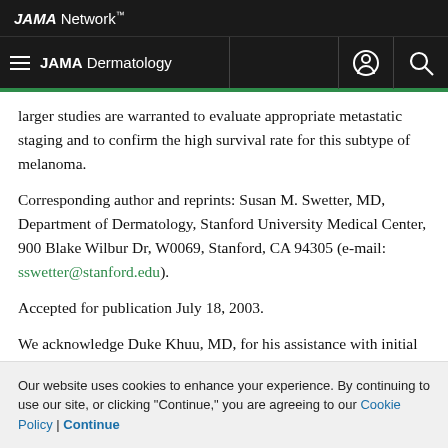JAMA Network
JAMA Dermatology
larger studies are warranted to evaluate appropriate metastatic staging and to confirm the high survival rate for this subtype of melanoma.
Corresponding author and reprints: Susan M. Swetter, MD, Department of Dermatology, Stanford University Medical Center, 900 Blake Wilbur Dr, W0069, Stanford, CA 94305 (e-mail: sswetter@stanford.edu).
Accepted for publication July 18, 2003.
We acknowledge Duke Khuu, MD, for his assistance with initial
Our website uses cookies to enhance your experience. By continuing to use our site, or clicking "Continue," you are agreeing to our Cookie Policy | Continue